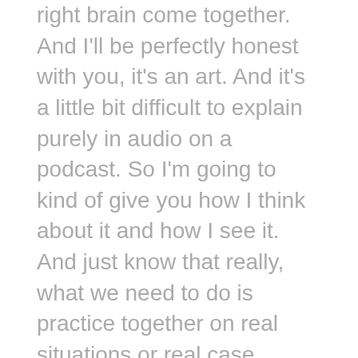right brain come together. And I'll be perfectly honest with you, it's an art. And it's a little bit difficult to explain purely in audio on a podcast. So I'm going to kind of give you how I think about it and how I see it. And just know that really, what we need to do is practice together on real situations or real case studies. So after I explain this part, I'll come back and give you an example that should help paint this picture a little more vividly a little more tangibly for you. But let's talk about the structure part as well as we can just, you know, in an audio format here, now that you know what you want.
The question is, how can you build something? How can you design an architect a deal, that is going to give you what you want, and give the seller what they want, and they need? And like I mentioned before,